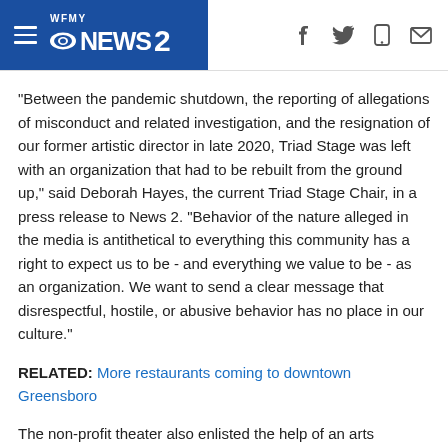WFMY NEWS 2 - navigation header with social icons
"Between the pandemic shutdown, the reporting of allegations of misconduct and related investigation, and the resignation of our former artistic director in late 2020, Triad Stage was left with an organization that had to be rebuilt from the ground up," said Deborah Hayes, the current Triad Stage Chair, in a press release to News 2. “Behavior of the nature alleged in the media is antithetical to everything this community has a right to expect us to be - and everything we value to be - as an organization. We want to send a clear message that disrespectful, hostile, or abusive behavior has no place in our culture."
RELATED: More restaurants coming to downtown Greensboro
The non-profit theater also enlisted the help of an arts consulting organization called Partners in Performance and worked with a planning committee made up of people